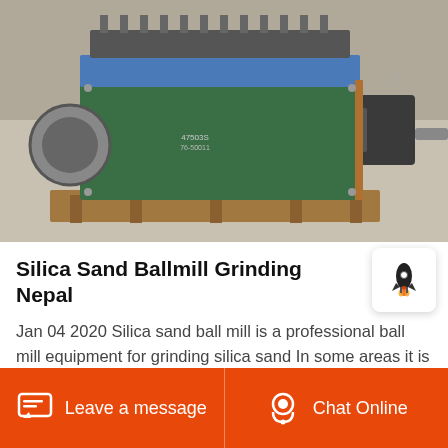[Figure (photo): Industrial grinding machine (silica sand ball mill) sitting on a wooden pallet on a concrete floor. The machine has a green metal body with protruding components and a shaft extending to the right, with a blue top section and rust-colored parts.]
Silica Sand Ballmill Grinding Nepal
Jan 04 2020 Silica sand ball mill is a professional ball mill equipment for grinding silica sand In some areas it is also called silica sand grinding mill or silica sand grinding machineSilica sand is a chemically stable
Leave a message  Chat Online